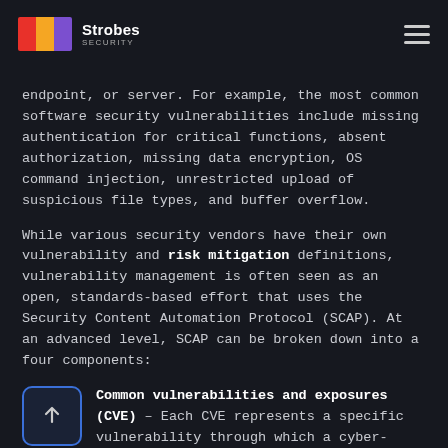Strobes SECURITY
endpoint, or server. For example, the most common software security vulnerabilities include missing authentication for critical functions, absent authorization, missing data encryption, OS command injection, unrestricted upload of suspicious file types, and buffer overflow.
While various security vendors have their own vulnerability and risk mitigation definitions, vulnerability management is often seen as an open, standards-based effort that uses the Security Content Automation Protocol (SCAP). At an advanced level, SCAP can be broken down into a four components:
Common vulnerabilities and exposures (CVE) – Each CVE represents a specific vulnerability through which a cyber-attack may occur. The